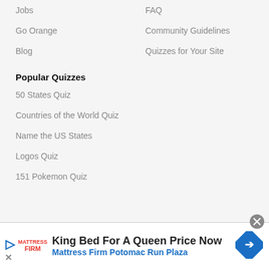Jobs
FAQ
Go Orange
Community Guidelines
Blog
Quizzes for Your Site
Popular Quizzes
50 States Quiz
Countries of the World Quiz
Name the US States
Logos Quiz
151 Pokemon Quiz
[Figure (other): Advertisement banner: King Bed For A Queen Price Now - Mattress Firm Potomac Run Plaza]